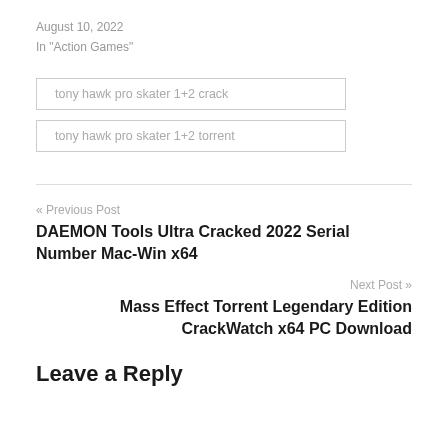August 10, 2022
In "Action Games"
tony hawk pro skater 1+2 crack
tony hawk pro skater 1+2 torrent
« Previous Post
DAEMON Tools Ultra Cracked 2022 Serial Number Mac-Win x64
Next Post »
Mass Effect Torrent Legendary Edition CrackWatch x64 PC Download
Leave a Reply